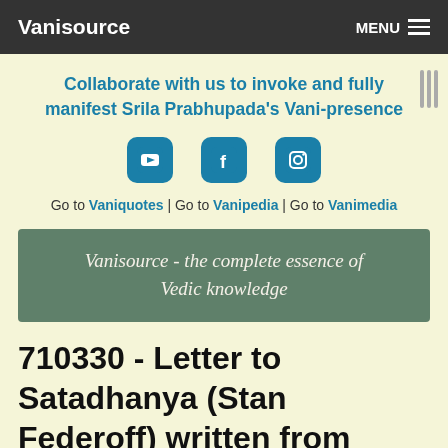Vanisource | MENU
Collaborate with us to invoke and fully manifest Srila Prabhupada's Vani-presence
[Figure (other): Social media icons: YouTube, Facebook, Instagram]
Go to Vaniquotes | Go to Vanipedia | Go to Vanimedia
Vanisource - the complete essence of Vedic knowledge
710330 - Letter to Satadhanya (Stan Federoff) written from